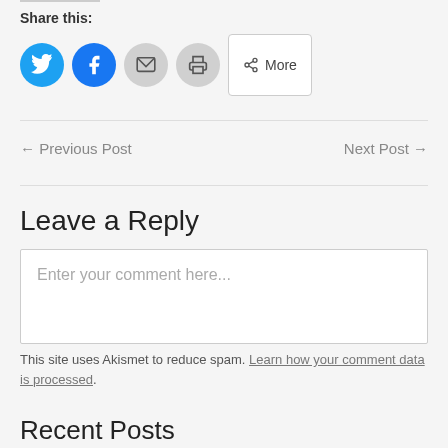Share this:
[Figure (other): Social share buttons: Twitter (blue circle), Facebook (blue circle), Email (grey circle), Print (grey circle), More (button)]
← Previous Post
Next Post →
Leave a Reply
Enter your comment here...
This site uses Akismet to reduce spam. Learn how your comment data is processed.
Recent Posts